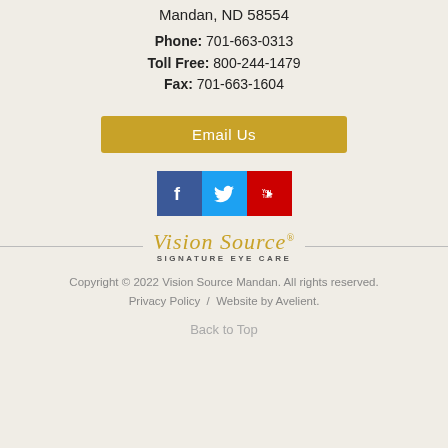Mandan, ND 58554
Phone: 701-663-0313
Toll Free: 800-244-1479
Fax: 701-663-1604
Email Us
[Figure (logo): Social media icons: Facebook (blue), Twitter (light blue), YouTube (red)]
[Figure (logo): Vision Source Signature Eye Care logo with decorative script and horizontal divider lines]
Copyright © 2022 Vision Source Mandan. All rights reserved. Privacy Policy / Website by Avelient.
Back to Top